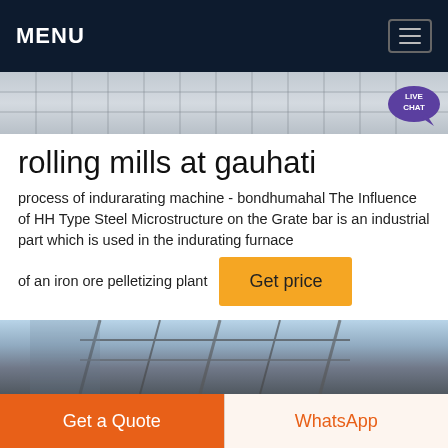MENU
[Figure (photo): Partial hero image showing a paved or tiled surface with gray tones, a live chat bubble visible at top right.]
rolling mills at gauhati
process of indurarating machine - bondhumahal The Influence of HH Type Steel Microstructure on the Grate bar is an industrial part which is used in the indurating furnace
of an iron ore pelletizing plant
[Figure (photo): Partial photo of industrial rolling mill structure with metal framework and blue sky background.]
Get a Quote
WhatsApp